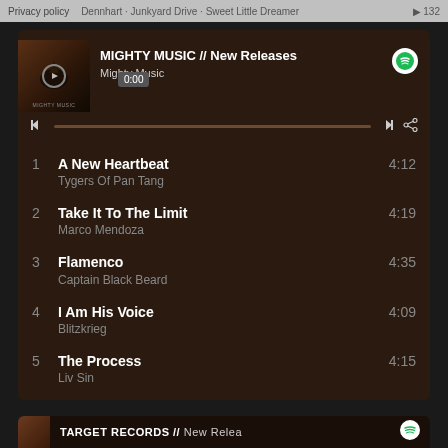Privacy policy  Dennhart · Junkyard Drive · Sweet Little Dreamer  ▶ 132
MIGHTY MUSIC // New Releases
Mighty Music  0:00
1  A New Heartbeat  Tygers Of Pan Tang  4:12
2  Take It To The Limit  Marco Mendoza  4:19
3  Flamenco  Captain Black Beard  4:35
4  I Am His Voice  Blitzkrieg  4:09
5  The Process  Liv Sin  4:15
6  Mr. Rock N' Roll  Junkyard Drive  3:34
TARGET RECORDS // New Releases